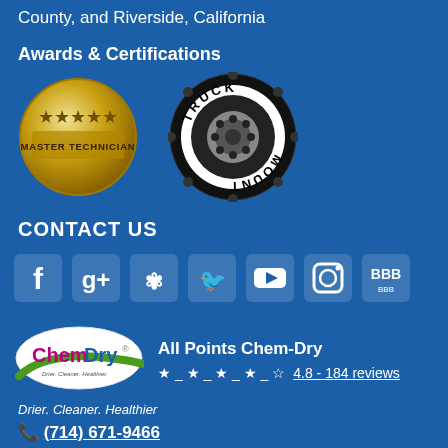County, and Riverside, California
Awards & Certifications
[Figure (logo): Master Technician gold circular badge with stars]
[Figure (logo): Truck Mount circular badge, black and white]
CONTACT US
[Figure (infographic): Social media icons: Facebook, Google+, Yelp, Twitter, YouTube, Instagram, BBB]
[Figure (logo): Chem-Dry logo with green swoosh]
All Points Chem-Dry
4.8 - 184 reviews
Drier. Cleaner. Healthier
(714) 671-9466